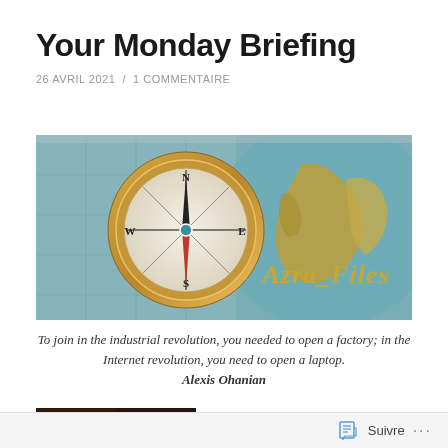Your Monday Briefing
26 AVRIL 2021  /  1 COMMENTAIRE
[Figure (photo): Banner image showing a compass on an old map alongside a globe, with text 'Azra_Files' overlaid in gold italic script. Teal and brown tones.]
To join in the industrial revolution, you needed to open a factory; in the Internet revolution, you need to open a laptop.
Alexis Ohanian
[Figure (photo): Small partially visible dark-toned image at bottom left, appears to show an interior scene.]
Suivre  ...